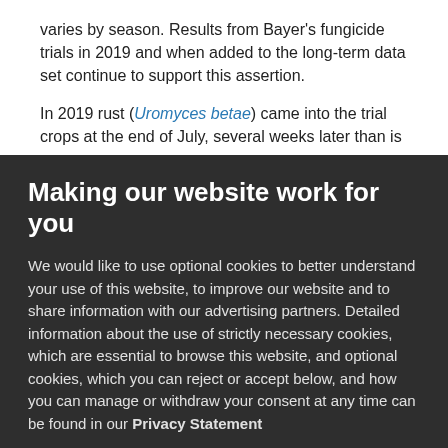varies by season. Results from Bayer's fungicide trials in 2019 and when added to the long-term data set continue to support this assertion.
In 2019 rust (Uromyces betae) came into the trial crops at the end of July, several weeks later than is
Making our website work for you
We would like to use optional cookies to better understand your use of this website, to improve our website and to share information with our advertising partners. Detailed information about the use of strictly necessary cookies, which are essential to browse this website, and optional cookies, which you can reject or accept below, and how you can manage or withdraw your consent at any time can be found in our Privacy Statement